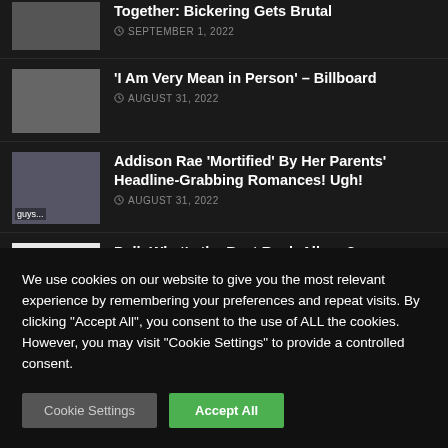Together: Bickering Gets Brutal
SEPTEMBER 1, 2022
'I Am Very Mean in Person' – Billboard
AUGUST 31, 2022
Addison Rae 'Mortified' By Her Parents' Headline-Grabbing Romances! Ugh!
AUGUST 31, 2022
Poll: What's the Best Rush Album?
We use cookies on our website to give you the most relevant experience by remembering your preferences and repeat visits. By clicking "Accept All", you consent to the use of ALL the cookies. However, you may visit "Cookie Settings" to provide a controlled consent.
Cookie Settings
Accept All